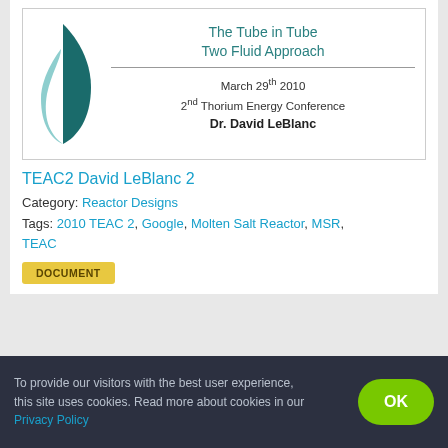[Figure (logo): Stylized leaf/crescent logo in dark teal and light teal colors]
The Tube in Tube Two Fluid Approach
March 29th 2010
2nd Thorium Energy Conference
Dr. David LeBlanc
TEAC2 David LeBlanc 2
Category: Reactor Designs
Tags: 2010 TEAC 2, Google, Molten Salt Reactor, MSR, TEAC
DOCUMENT
To provide our visitors with the best user experience, this site uses cookies. Read more about cookies in our Privacy Policy